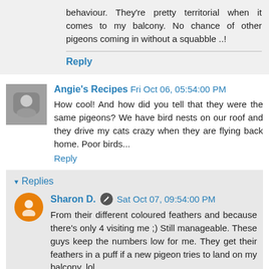behaviour. They're pretty territorial when it comes to my balcony. No chance of other pigeons coming in without a squabble ..!
Reply
Angie's Recipes  Fri Oct 06, 05:54:00 PM
How cool! And how did you tell that they were the same pigeons? We have bird nests on our roof and they drive my cats crazy when they are flying back home. Poor birds...
Reply
Replies
Sharon D.  Sat Oct 07, 09:54:00 PM
From their different coloured feathers and because there's only 4 visiting me ;) Still manageable. These guys keep the numbers low for me. They get their feathers in a puff if a new pigeon tries to land on my balcony. lol